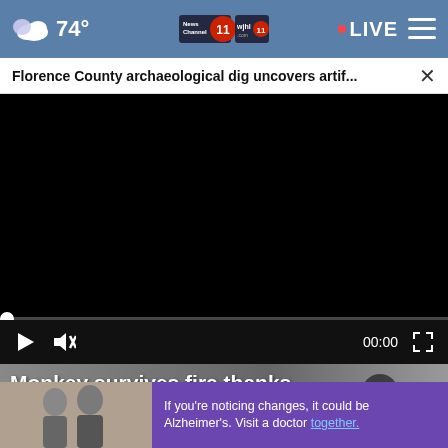74° News Channel 11 wjhl.com 11 · LIVE
Florence County archaeological dig uncovers artif... ×
[Figure (screenshot): Black video player screen with progress bar at bottom showing 00:00 timecode, play button, mute button, and fullscreen button on dark controls bar]
Monkey survives fire thanks × dog
If you're noticing changes, it could be Alzheimer's. Visit a doctor together.